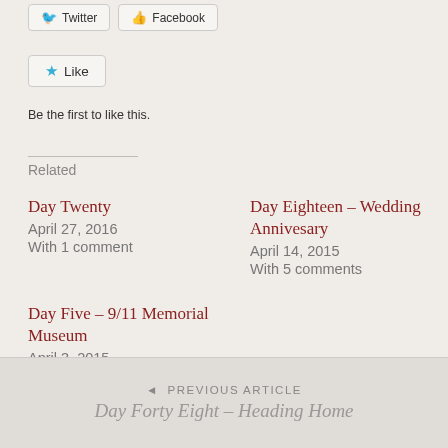[Figure (screenshot): Twitter and Facebook share buttons at top of page]
[Figure (screenshot): Like button widget with star icon]
Be the first to like this.
Related
Day Twenty
April 27, 2016
With 1 comment
Day Eighteen – Wedding Annivesary
April 14, 2015
With 5 comments
Day Five – 9/11 Memorial Museum
April 3, 2015
◄ PREVIOUS ARTICLE
Day Forty Eight – Heading Home